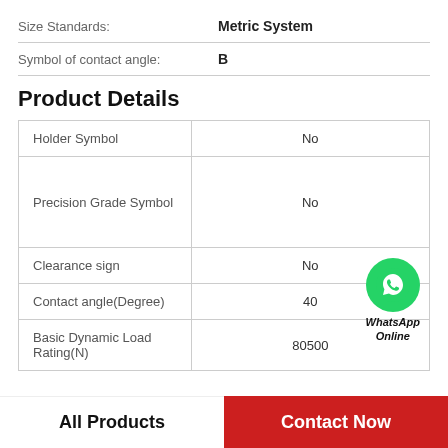|  |  |
| --- | --- |
| Size Standards: | Metric System |
| Symbol of contact angle: | B |
Product Details
| Property | Value |
| --- | --- |
| Holder Symbol | No |
| Precision Grade Symbol | No |
| Clearance sign | No |
| Contact angle(Degree) | 40 |
| Basic Dynamic Load Rating(N) | 80500 |
[Figure (logo): WhatsApp Online button — green circle with phone icon, text 'WhatsApp Online']
All Products   Contact Now